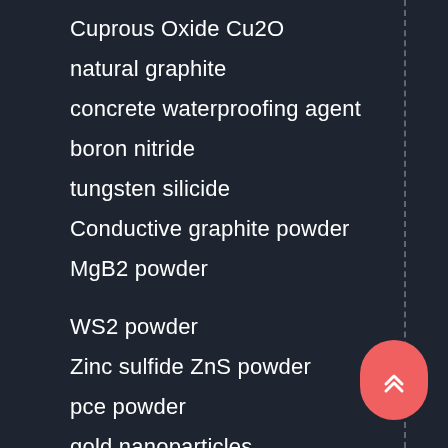Cuprous Oxide Cu2O
natural graphite
concrete waterproofing agent
boron nitride
tungsten silicide
Conductive graphite powder
MgB2 powder
WS2 powder
Zinc sulfide ZnS powder
pce powder
gold nanoparticles
titanium carbide powder